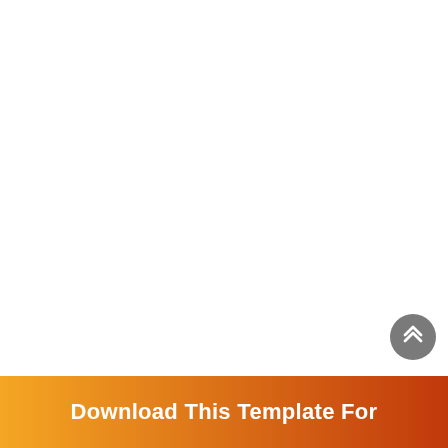[Figure (other): Circular grey scroll-to-top button with double chevron (upward arrows) in white, positioned at lower right]
Download This Template For